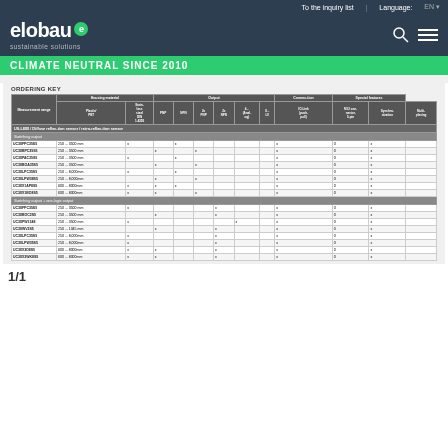To the inquiry list | Language: EN
[Figure (logo): elobau sustainable solutions logo with green circle e]
CLIMATE NEUTRAL SINCE 2010
ORDERING KEY
| Measurement range | Housing material - Plastic/PBT | Housing material - Stainless steel DIN 1.4305 | Output - PNP | Output - NPN | Output - 2x PNP | Output - 2x NPN | Output - 4... (Analog) | Output - 0... LV | Output - IO-Link (push-pull) | Connection - M12 connector 5-pin | Special features - Synchron/function | Special features - Multi-plexing |
| --- | --- | --- | --- | --- | --- | --- | --- | --- | --- | --- | --- | --- |
| US-L800 / Diffuse reflection sensor / retro-reflective sensor |  |  |  |  |  |  |  |  |  |  |  |  |
| Switching output |  |  |  |  |  |  |  |  |  |  |  |  |
| UC30FPC35S5 | 250 ... 3500 mm | x |  | x |  |  |  | x | 0 | x |  |  |
| UC30BPC35S5 | 250 ... 3500 mm |  | x |  | x |  |  | x | 0 | x |  |  |
| UC30PAC35S5 | 250 ... 3500 mm | x |  | x |  |  |  | x | 0 | x |  |  |
| UC30BOA35S5 | 250 ... 3500 mm |  | x |  | x |  |  | x | 0 | x |  |  |
| UC30LPC35S5 | 250 ... 8,000mm | x |  | x |  |  |  | x | 0 | x |  |  |
| UC30LPW38S5 | 250 ... 8,000mm |  | x |  | x |  |  | x | 0 | x |  |  |
| UC30X1AP8S5 | 600 ... 8000mm | x | x | x |  |  |  | x | 0 | x |  |  |
| UC30X1BO8S5 | 600 ... 8000mm | x | x |  | x |  |  | x | 0 | x |  |  |
| Switching output + one-logic output |  |  |  |  |  |  |  |  |  |  |  |  |
| UC30FPC35S5 | 250 ... 3500 mm | x |  |  |  | x |  | x | 0 | x |  |  |
| UC30BOC2S5 | 250 ... 3500 mm |  | x |  |  | x |  | x | 0 | x |  |  |
| UC30PW1348 | 250 ... 3500 mm | x |  |  |  |  | x | x | 0 | x |  |  |
| UC30WV2S5 | 250 ... 1345 mm |  | x |  |  | x |  | x | 0 | x |  |  |
| UC30LPC35S5 | 250 ... 8,000mm | x |  |  |  | x |  | x | 0 | x |  |  |
| UC30LPW35S5 | 250 ... 8,000mm | x |  |  |  | x |  | x | 0 | x |  |  |
| UC30X3D8S5 | 600 ... 8000mm | x | x |  |  | x |  | x | 0 | x |  |  |
| UC30X3WK8S5 | 600 ... 8000mm | x | x |  |  | x |  | x | 0 | x |  |  |
1/1